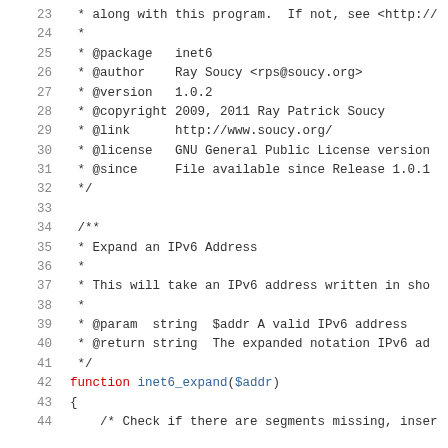Source code listing, lines 23-44, PHP file with phpDoc comments and function inet6_expand($addr)